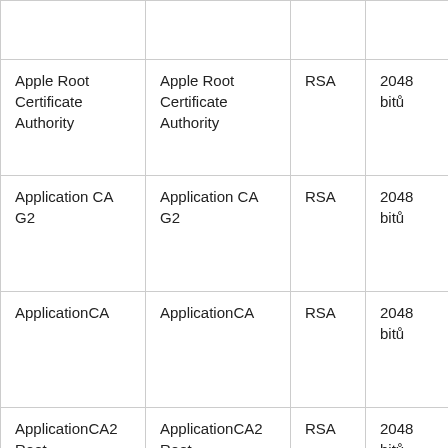|  |  |  |  |
| Apple Root Certificate Authority | Apple Root Certificate Authority | RSA | 2048 bitů |
| Application CA G2 | Application CA G2 | RSA | 2048 bitů |
| ApplicationCA | ApplicationCA | RSA | 2048 bitů |
| ApplicationCA2 Root | ApplicationCA2 Root | RSA | 2048 bitů |